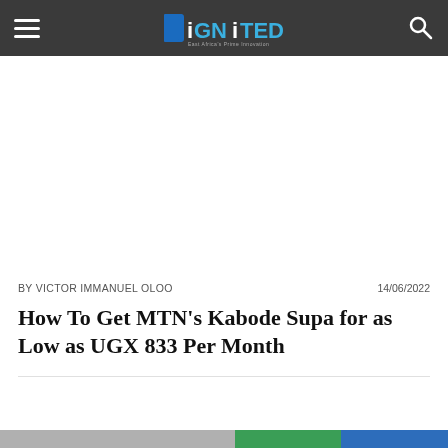DiGNiTED — navigation header with hamburger menu, logo, and search icon
[Figure (other): Blank white advertisement/placeholder space]
BY VICTOR IMMANUEL OLOO    14/06/2022
How To Get MTN's Kabode Supa for as Low as UGX 833 Per Month